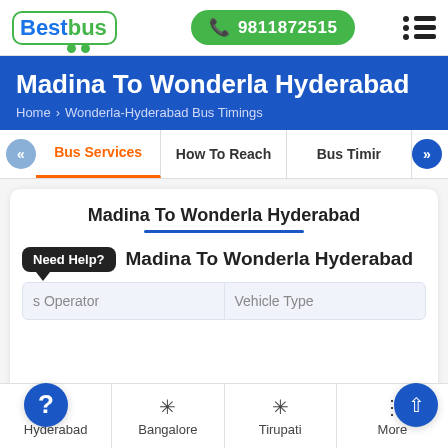BestBus | 9811872515
Madina To Wonderla Hyderabad
Home > Wonderla-Hyderabad Bus Timings
Bus Services | How To Reach | Bus Timir
Madina To Wonderla Hyderabad
Madina To Wonderla Hyderabad
s Operator	Vehicle Type
Hyderabad | Bangalore | Tirupati | More